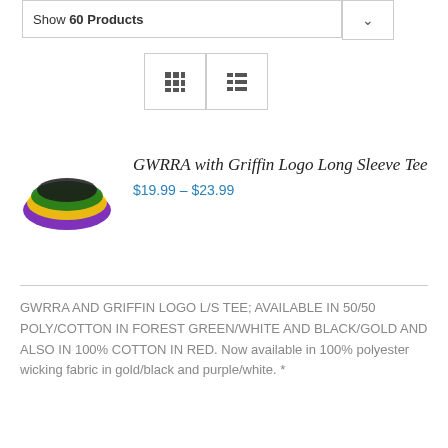Show 60 Products
[Figure (screenshot): Grid and list view toggle buttons]
[Figure (photo): GWRRA with Griffin Logo Long Sleeve Tee product thumbnail showing folded tee with purple, yellow and green colors]
GWRRA with Griffin Logo Long Sleeve Tee
$19.99 – $23.99
GWRRA AND GRIFFIN LOGO L/S TEE; AVAILABLE IN 50/50 POLY/COTTON IN FOREST GREEN/WHITE AND BLACK/GOLD AND ALSO IN 100% COTTON IN RED. Now available in 100% polyester wicking fabric in gold/black and purple/white. *